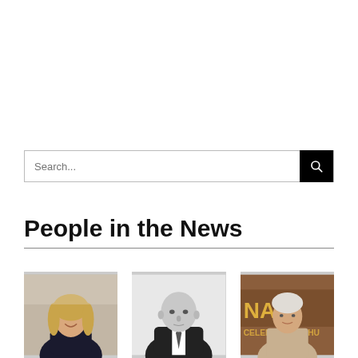[Figure (other): Search bar with text input placeholder 'Search...' and black search button with magnifier icon]
People in the News
[Figure (photo): Three portrait photos: a blonde woman smiling in an office setting, a bald man in a suit, and an older man in front of a NAIOP sign]
[Figure (photo): Bald man portrait, black and white]
[Figure (photo): Older man in front of NAIOP celebrating sign]